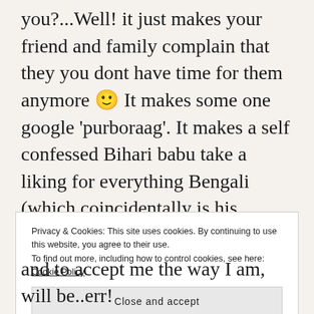you?...Well! it just makes your friend and family complain that they you dont have time for them anymore 🙂 It makes some one google 'purboraag'. It makes a self confessed Bihari babu take a liking for everything Bengali (which coincidentally is his mother tounge too :P)Change..yes! thats happens a bit....you remember 'him' everytime some one mentions something even remotely funny you shared with him. and you talk...talk absolute nonsense.take his trip.make him promise that
Privacy & Cookies: This site uses cookies. By continuing to use this website, you agree to their use.
To find out more, including how to control cookies, see here: Cookie Policy
Close and accept
and to accept me the way I am, will be..err!